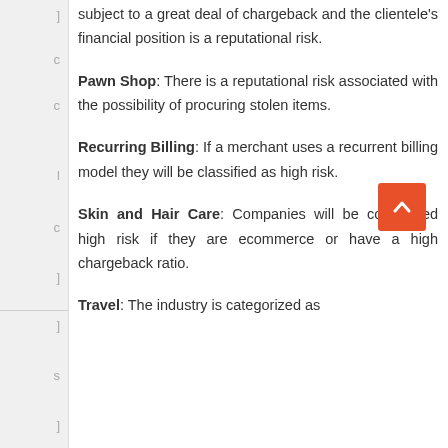subject to a great deal of chargeback and the clientele's financial position is a reputational risk.
Pawn Shop: There is a reputational risk associated with the possibility of procuring stolen items.
Recurring Billing: If a merchant uses a recurrent billing model they will be classified as high risk.
Skin and Hair Care: Companies will be considered high risk if they are ecommerce or have a high chargeback ratio.
Travel: The industry is categorized as